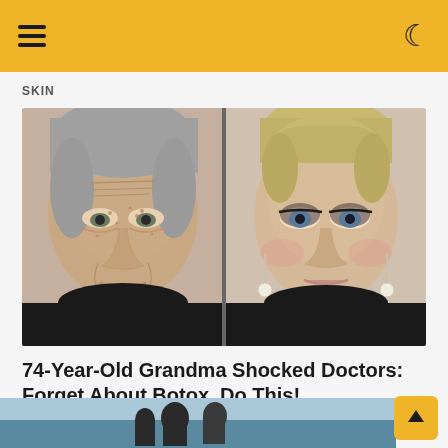SKIN
[Figure (photo): Before and after comparison photo of a woman. Left side shows an older woman with aged skin, wrinkles, freckles and no makeup. Right side shows the same woman transformed with makeup, styled blonde pixie cut hair, dramatic eye makeup, and dangling pearl earrings.]
74-Year-Old Grandma Shocked Doctors: Forget About Botox, Do This!
PURE THRIV
[Figure (photo): Partial view of a bottom image strip showing what appears to be people near water/beach scene.]